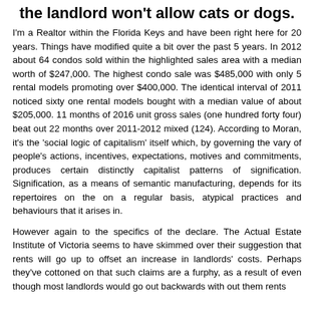the landlord won't allow cats or dogs.
I'm a Realtor within the Florida Keys and have been right here for 20 years. Things have modified quite a bit over the past 5 years. In 2012 about 64 condos sold within the highlighted sales area with a median worth of $247,000. The highest condo sale was $485,000 with only 5 rental models promoting over $400,000. The identical interval of 2011 noticed sixty one rental models bought with a median value of about $205,000. 11 months of 2016 unit gross sales (one hundred forty four) beat out 22 months over 2011-2012 mixed (124). According to Moran, it's the 'social logic of capitalism' itself which, by governing the vary of people's actions, incentives, expectations, motives and commitments, produces certain distinctly capitalist patterns of signification. Signification, as a means of semantic manufacturing, depends for its repertoires on the on a regular basis, atypical practices and behaviours that it arises in.
However again to the specifics of the declare. The Actual Estate Institute of Victoria seems to have skimmed over their suggestion that rents will go up to offset an increase in landlords' costs. Perhaps they've cottoned on that such claims are a furphy, as a result of even though most landlords would go out backwards with out them rents as a function of what rents will accomplish that the market landlord.